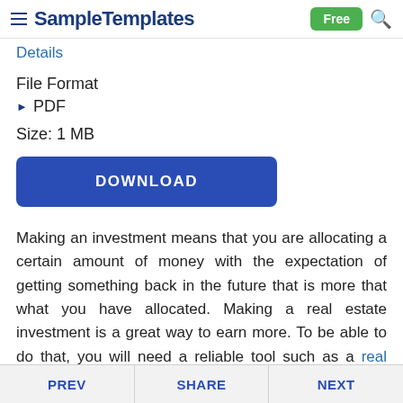SampleTemplates  Free
Details
File Format
PDF
Size: 1 MB
DOWNLOAD
Making an investment means that you are allocating a certain amount of money with the expectation of getting something back in the future that is more that what you have allocated. Making a real estate investment is a great way to earn more. To be able to do that, you will need a reliable tool such as a real estate investment
PREV  SHARE  NEXT